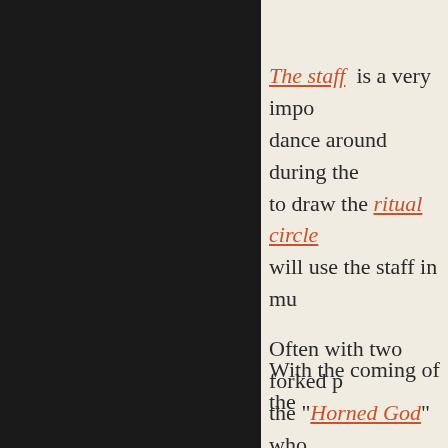The staff is a very impo dance around during the to draw the ritual circle will use the staff in mu Often with two forked p the "Horned God" who altar piece, the stang is With the coming of the